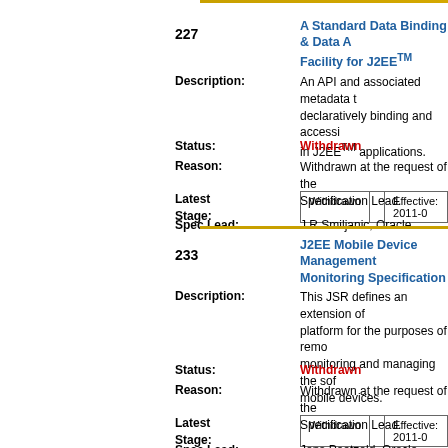227
A Standard Data Binding & Data Access Facility for J2EE™
Description: An API and associated metadata that supports declaratively binding and accessing data in J2EE™ applications.
Status: Withdrawn
Reason: Withdrawn at the request of the Specification Lead.
Latest Stage: Withdrawn | Effective: 2011-0
Spec Lead: J.R Smiljanic, Oracle
233
J2EE Mobile Device Management & Monitoring Specification
Description: This JSR defines an extension of the platform for the purposes of remotely monitoring and managing the software of mobile devices.
Status: Withdrawn
Reason: Withdrawn at the request of the Specification Lead.
Latest Stage: Withdrawn | Effective: 2011-0
Spec Lead: Jens Paetzold, Oracle